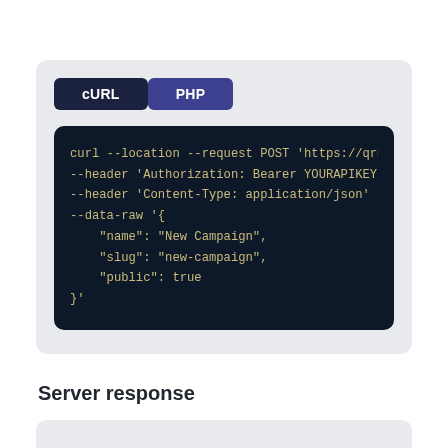[Figure (screenshot): Code block showing cURL and PHP tabs with a cURL POST request example including Authorization header, Content-Type header, and JSON body with name, slug, and public fields]
Server response